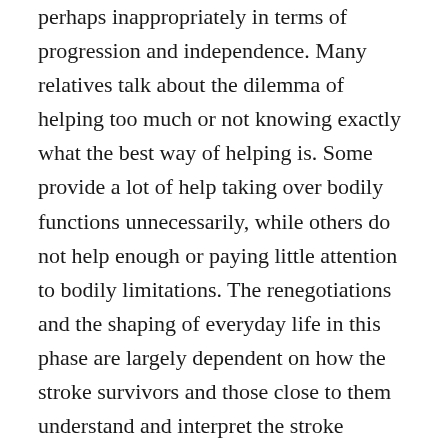perhaps inappropriately in terms of progression and independence. Many relatives talk about the dilemma of helping too much or not knowing exactly what the best way of helping is. Some provide a lot of help taking over bodily functions unnecessarily, while others do not help enough or paying little attention to bodily limitations. The renegotiations and the shaping of everyday life in this phase are largely dependent on how the stroke survivors and those close to them understand and interpret the stroke survivors' situation, and their abilities. We must also take into consideration the expectations the stroke survivors have of themselves, how they consider their bodily potential and what thoughts they have regarding participation within the contexts they were a part of